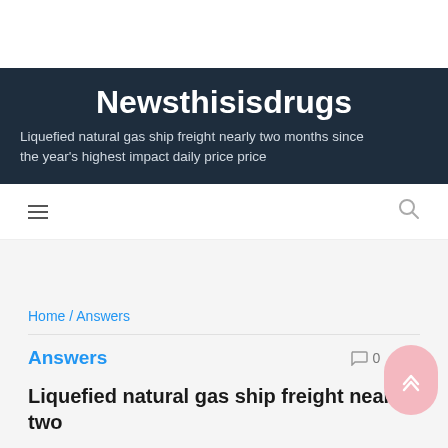Newsthisisdrugs
Liquefied natural gas ship freight nearly two months since the year's highest impact daily price price
Home / Answers
Answers
Liquefied natural gas ship freight nearly two